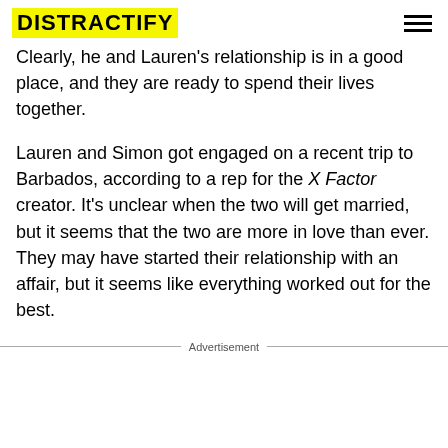DISTRACTIFY
Clearly, he and Lauren's relationship is in a good place, and they are ready to spend their lives together.
Lauren and Simon got engaged on a recent trip to Barbados, according to a rep for the X Factor creator. It's unclear when the two will get married, but it seems that the two are more in love than ever. They may have started their relationship with an affair, but it seems like everything worked out for the best.
Advertisement